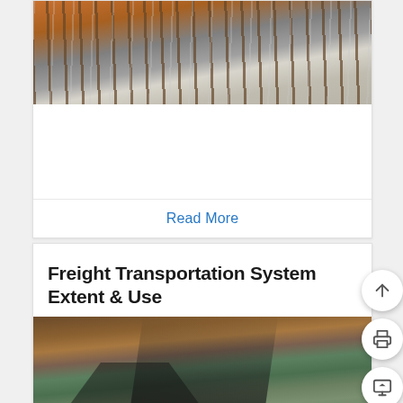[Figure (photo): Aerial view of a large freight train yard with rows of shipping containers and rail cars, warm orange/golden light]
Read More
Freight Transportation System Extent & Use
[Figure (photo): Aerial view of a desert highway with red rock cliffs and a freight train passing alongside the road]